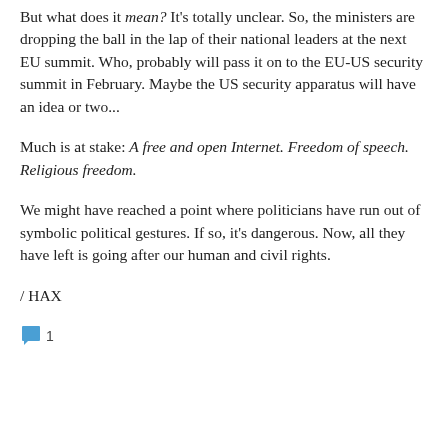But what does it mean? It's totally unclear. So, the ministers are dropping the ball in the lap of their national leaders at the next EU summit. Who, probably will pass it on to the EU-US security summit in February. Maybe the US security apparatus will have an idea or two...
Much is at stake: A free and open Internet. Freedom of speech. Religious freedom.
We might have reached a point where politicians have run out of symbolic political gestures. If so, it's dangerous. Now, all they have left is going after our human and civil rights.
/ HAX
[Figure (other): Comment icon (speech bubble) with count: 1]